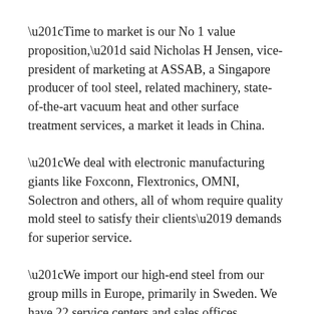“Time to market is our No 1 value proposition,” said Nicholas H Jensen, vice-president of marketing at ASSAB, a Singapore producer of tool steel, related machinery, state-of-the-art vacuum heat and other surface treatment services, a market it leads in China.
“We deal with electronic manufacturing giants like Foxconn, Flextronics, OMNI, Solectron and others, all of whom require quality mold steel to satisfy their clients’ demands for superior service.
“We import our high-end steel from our group mills in Europe, primarily in Sweden. We have 22 service centers and sales offices throughout China. Seventy percent of our business comes from multinational companies, while the other 30 percent is from local